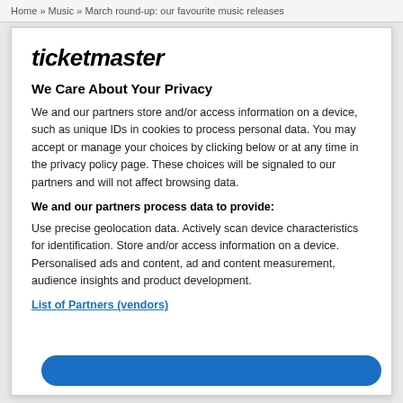Home » Music » March round-up: our favourite music releases
[Figure (logo): Ticketmaster logo in bold italic text]
We Care About Your Privacy
We and our partners store and/or access information on a device, such as unique IDs in cookies to process personal data. You may accept or manage your choices by clicking below or at any time in the privacy policy page. These choices will be signaled to our partners and will not affect browsing data.
We and our partners process data to provide:
Use precise geolocation data. Actively scan device characteristics for identification. Store and/or access information on a device. Personalised ads and content, ad and content measurement, audience insights and product development.
List of Partners (vendors)